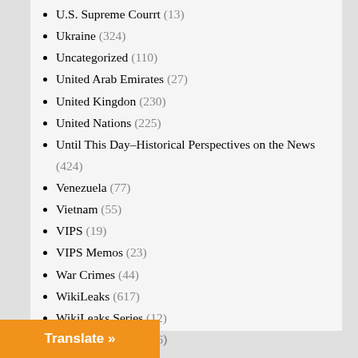U.S. Supreme Courrt (13)
Ukraine (324)
Uncategorized (110)
United Arab Emirates (27)
United Kingdon (230)
United Nations (225)
Until This Day–Historical Perspectives on the News (424)
Venezuela (77)
Vietnam (55)
VIPS (19)
VIPS Memos (23)
War Crimes (44)
WikiLeaks (617)
WikiLeaks Series (12)
Winter Fund Drive (6)
WMD (12)
Women (47)
Yemen (52)
Translate »